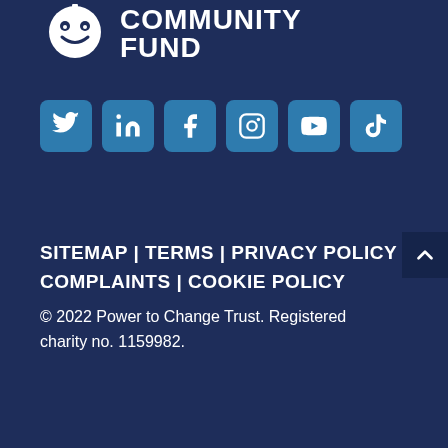[Figure (logo): National Lottery Community Fund logo — lottery balls icon with 'COMMUNITY FUND' text in white on dark blue background]
[Figure (infographic): Six social media icon buttons (Twitter, LinkedIn, Facebook, Instagram, YouTube, TikTok) in teal/blue rounded squares]
SITEMAP | TERMS | PRIVACY POLICY | COMPLAINTS | COOKIE POLICY
© 2022 Power to Change Trust. Registered charity no. 1159982.